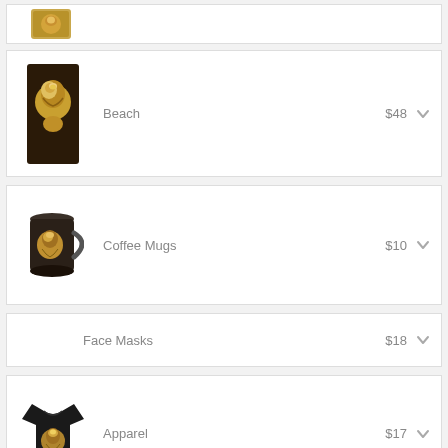[Figure (photo): Partial product row at top showing a small lion image thumbnail]
[Figure (photo): Beach towel product with lion portrait artwork, priced at $48 with dropdown chevron]
[Figure (photo): Coffee Mugs product with lion mug image, priced at $10 with dropdown chevron]
Face Masks $18
[Figure (photo): Apparel product with black t-shirt featuring lion design, priced at $17 with dropdown chevron]